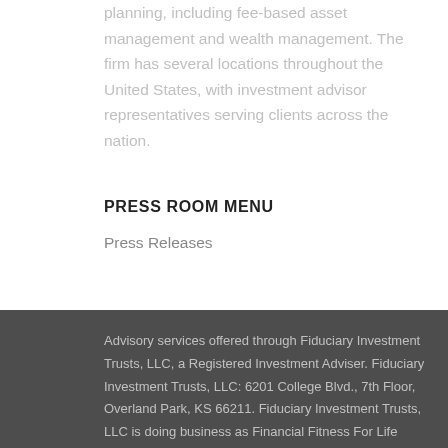planning, including fee-based asset management and wealth management. The firm has several locations throughout the United States, with investment advisor representatives serving clients across the nation.
PRESS ROOM MENU
Press Releases
Advisory services offered through Fiduciary Investment Trusts, LLC, a Registered Investment Adviser. Fiduciary Investment Trusts, LLC: 6201 College Blvd., 7th Floor, Overland Park, KS 66211. Fiduciary Investment Trusts, LLC is doing business as Financial Fitness For Life...